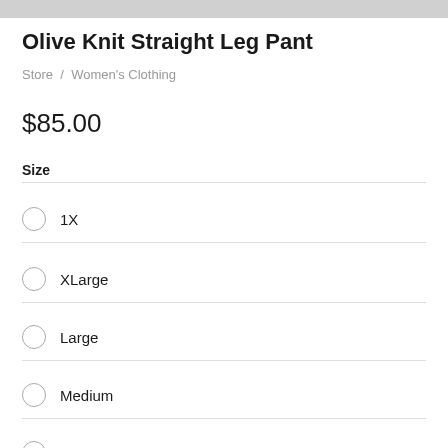[Figure (photo): Partial product image bar at top]
Olive Knit Straight Leg Pant
Store / Women's Clothing
$85.00
Size
1X
XLarge
Large
Medium
Small
XSmall